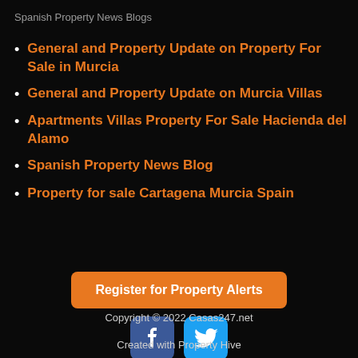Spanish Property News Blogs
General and Property Update on Property For Sale in Murcia
General and Property Update on Murcia Villas
Apartments Villas Property For Sale Hacienda del Alamo
Spanish Property News Blog
Property for sale Cartagena Murcia Spain
Register for Property Alerts
[Figure (logo): Facebook icon button]
[Figure (logo): Twitter icon button]
Copyright © 2022 Casas247.net
Created with Property Hive